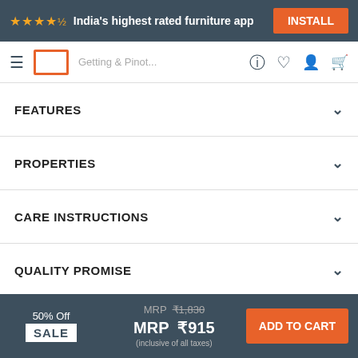★★★★½ India's highest rated furniture app  INSTALL
[Figure (screenshot): Navigation bar with hamburger menu, Pepperfry logo outline, search bar placeholder, help, wishlist, account, and cart icons]
FEATURES
PROPERTIES
CARE INSTRUCTIONS
QUALITY PROMISE
RETURNS
WARRANTY
50% Off SALE   MRP ₹1,830  MRP ₹915  (inclusive of all taxes)   ADD TO CART